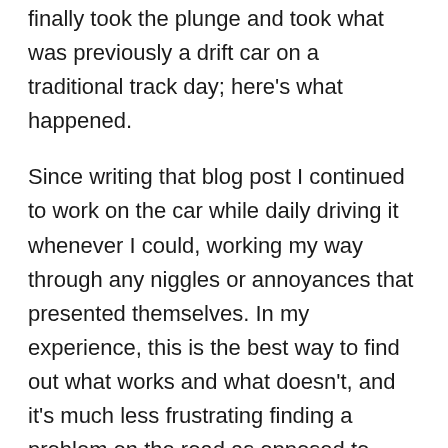finally took the plunge and took what was previously a drift car on a traditional track day; here's what happened.
Since writing that blog post I continued to work on the car while daily driving it whenever I could, working my way through any niggles or annoyances that presented themselves. In my experience, this is the best way to find out what works and what doesn't, and it's much less frustrating finding a problem on the road as opposed to discovering it at an expensive drift or track day when you're already pushed for time.
One of the longest running jokes with the STL Laurel has always been how comically slow the starter motor was to crank. I always assumed it was because of the